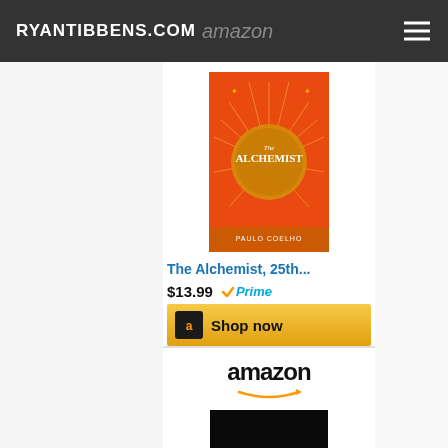RYANTIBBENS.COM amazon
[Figure (screenshot): Amazon product card for 'The Alchemist, 25th...' book cover (orange with circular design), priced at $13.99 with Prime badge and Shop now button]
The Alchemist, 25th...
$13.99 ✓Prime
Shop now
[Figure (screenshot): Amazon ad unit with Amazon logo and arrow, followed by Meditations: A New Translation book cover (black with red bird illustration)]
Meditations: A New Translation
$7.99 ✓Prime